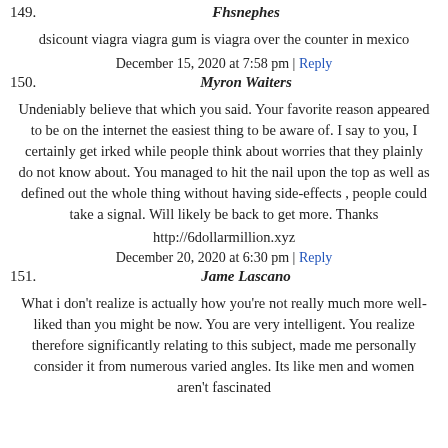149. Fhsnephes
dsicount viagra viagra gum is viagra over the counter in mexico
December 15, 2020 at 7:58 pm | Reply
150. Myron Waiters
Undeniably believe that which you said. Your favorite reason appeared to be on the internet the easiest thing to be aware of. I say to you, I certainly get irked while people think about worries that they plainly do not know about. You managed to hit the nail upon the top as well as defined out the whole thing without having side-effects , people could take a signal. Will likely be back to get more. Thanks
http://6dollarmillion.xyz
December 20, 2020 at 6:30 pm | Reply
151. Jame Lascano
What i don't realize is actually how you're not really much more well-liked than you might be now. You are very intelligent. You realize therefore significantly relating to this subject, made me personally consider it from numerous varied angles. Its like men and women aren't fascinated